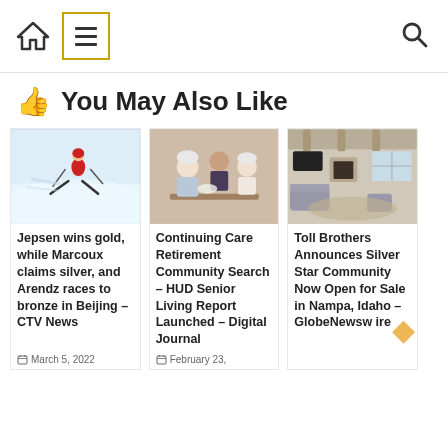Navigation bar with home icon, menu (hamburger) icon in gold box, and search icon
👍 You May Also Like
[Figure (photo): Skier in red racing downhill on snow]
Jepsen wins gold, while Marcoux claims silver, and Arendz races to bronze in Beijing – CTV News
March 5, 2022
[Figure (photo): Elderly people dining at a restaurant being served by a caregiver]
Continuing Care Retirement Community Search – HUD Senior Living Report Launched – Digital Journal
February 23,
[Figure (photo): Modern living room interior with fireplace and large windows]
Toll Brothers Announces Silver Star Community Now Open for Sale in Nampa, Idaho – GlobeNewswire